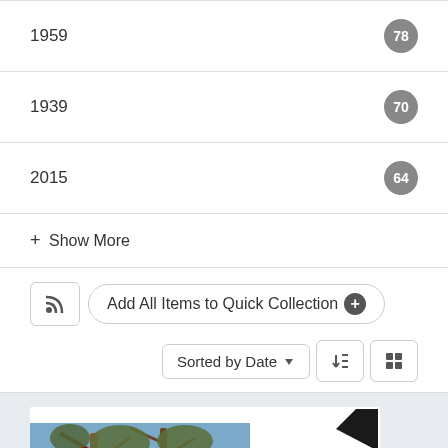1959  78
1939  70
2015  64
+ Show More
Add All Items to Quick Collection
Sorted by Date
[Figure (photo): A photograph mounted on white card stock with a decorative black corner mount. The photo shows bare trees with sparse foliage against a blue sky. Handwritten text on the right side of the card reads: 'In Ovral forest. B Kig Dill Tom a...']